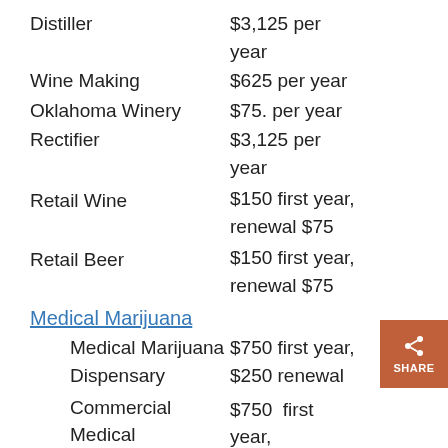Distiller   $3,125 per year
Wine Making   $625 per year
Oklahoma Winery   $75. per year
Rectifier   $3,125 per year
Retail Wine   $150 first year, renewal $75
Retail Beer   $150 first year, renewal $75
Medical Marijuana
Medical Marijuana Dispensary   $750 first year, $250 renewal
Commercial Medical Marijuana Growing Facility   $750 first year, $250 renewal
Commercial Medical Marijuana Processing   $750 first year,